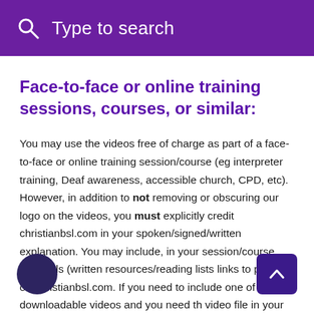Type to search
Face-to-face or online training sessions, courses, or similar:
You may use the videos free of charge as part of a face-to-face or online training session/course (eg interpreter training, Deaf awareness, accessible church, CPD, etc). However, in addition to not removing or obscuring our logo on the videos, you must explicitly credit christianbsl.com in your spoken/signed/written explanation. You may include, in your session/course materials (written resources/reading lists links to pages on christianbsl.com. If you need to include one of our downloadable videos and you need the video file in your material (e.g. in your PowerPoint/Keynote